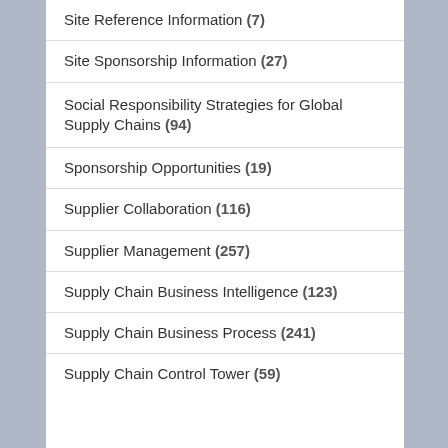Site Reference Information (7)
Site Sponsorship Information (27)
Social Responsibility Strategies for Global Supply Chains (94)
Sponsorship Opportunities (19)
Supplier Collaboration (116)
Supplier Management (257)
Supply Chain Business Intelligence (123)
Supply Chain Business Process (241)
Supply Chain Control Tower (59)